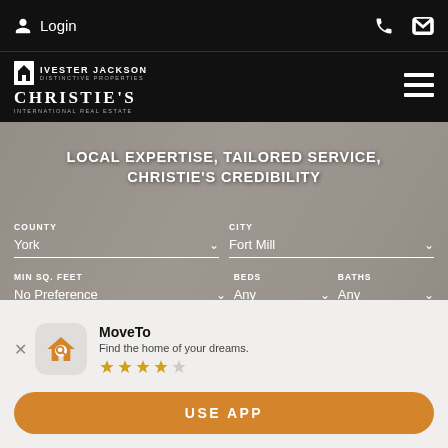Login
[Figure (logo): Ivester Jackson Distinctive Properties / Christie's International Real Estate logo]
LOCAL EXPERTISE, TAILORED SERVICE, CHRISTIE'S CREDIBILITY
COUNTY: York   CITY: Fort Mill
MIN SQ. FEET: No Preference   BEDS: Any   BATHS: Any
PRICE: $500,000   TO
[Figure (screenshot): MoveTo app install banner with house icon, 4-star rating, and USE APP button]